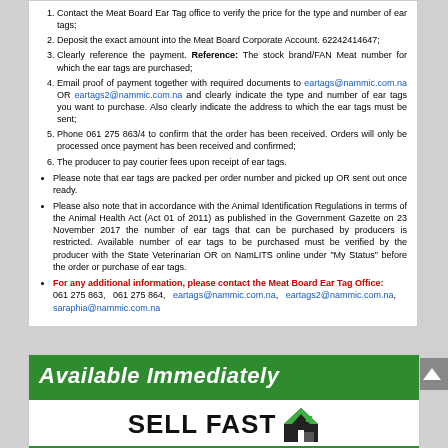Contact the Meat Board Ear Tag office to verify the price for the type and number of ear tags;
Deposit the exact amount into the Meat Board Corporate Account. 62242414647;
Clearly reference the payment. Reference: The stock brand/FAN Meat number for which the ear tags are purchased;
Email proof of payment together with required documents to eartags@nammic.com.na OR eartags2@nammic.com.na and clearly indicate the type and number of ear tags you want to purchase. Also clearly indicate the address to which the ear tags must be sent;
Phone 061 275 863/4 to confirm that the order has been received. Orders will only be processed once payment has been received and confirmed;
The producer to pay courier fees upon receipt of ear tags.
Please note that ear tags are packed per order number and picked up OR sent out once ready.
Please also note that in accordance with the Animal Identification Regulations in terms of the Animal Health Act (Act 01 of 2011) as published in the Government Gazette on 23 November 2017 the number of ear tags that can be purchased by producers is restricted. Available number of ear tags to be purchased must be verified by the producer with the State Veterinarian OR on NamLITS online under "My Status" before the order or purchase of ear tags.
For any additional information, please contact the Meat Board Ear Tag Office: 061 275 863, 061 275 864, eartags@nammic.com.na, eartags2@nammic.com.na, saraphia@nammic.com.na
[Figure (logo): Available Immediately green banner with Sell Fast Real Estate & Auctions logo below]